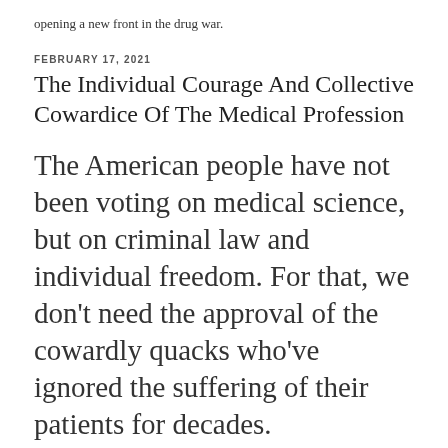opening a new front in the drug war.
FEBRUARY 17, 2021
The Individual Courage And Collective Cowardice Of The Medical Profession
The American people have not been voting on medical science, but on criminal law and individual freedom. For that, we don’t need the approval of the cowardly quacks who’ve ignored the suffering of their patients for decades.
There are some phone calls you just never forget. It was